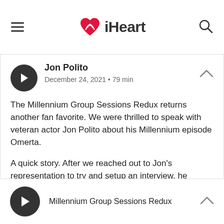iHeart
Jon Polito
December 24, 2021 • 79 min
The Millennium Group Sessions Redux returns another fan favorite. We were thrilled to speak with veteran actor Jon Polito about his Millennium episode Omerta.
A quick story. After we reached out to Jon's representation to try and setup an interview, he literally called us 5 minutes after we sent the email excited to talk about Millennium!
Millennium Group Sessions Redux